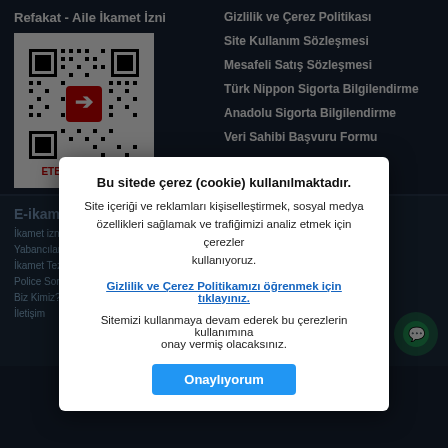Refakat - Aile İkamet İzni
[Figure (other): QR code with ETBİS logo and 'ETBİS'e Kayıtlıdır.' label]
Gizlilik ve Çerez Politikası
Site Kullanım Sözleşmesi
Mesafeli Satış Sözleşmesi
Türk Nippon Sigorta Bilgilendirme
Anadolu Sigorta Bilgilendirme
Veri Sahibi Başvuru Formu
E-ikamet Sigorta
İletişim
İkamet izni ...
Yabancılar için Sağlık Sigortası
İkamet Tezkeresi Uzatma
Police Sorgulama
Biz Kimiz?
İletişim
Nişbetiye Mah. Gazi Güçnar Sok. Kısmet 4 Ofis No 10 ... No: 209723-5 Levha Kayıt No: T191016 ... @eikamet sigorta.com
Bu sitede çerez (cookie) kullanılmaktadır. Site içeriği ve reklamları kişiselleştirmek, sosyal medya özellikleri sağlamak ve trafiğimizi analiz etmek için çerezler kullanıyoruz. Gizlilik ve Çerez Politikamızı öğrenmek için tıklayınız. Sitemizi kullanmaya devam ederek bu çerezlerin kullanımına onay vermiş olacaksınız.
Onaylıyorum